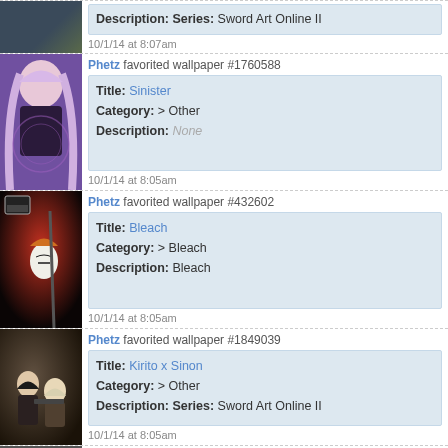[Figure (screenshot): Partial anime wallpaper thumbnail at top]
Description: Series: Sword Art Online II
10/1/14 at 8:07am
[Figure (photo): Anime girl with long pink/purple hair, dark outfit, purple circular design]
Phetz favorited wallpaper #1760588
Title: Sinister
Category: > Other
Description: None
10/1/14 at 8:05am
[Figure (photo): Anime Bleach character with orange hair and mask, dark red background]
Phetz favorited wallpaper #432602
Title: Bleach
Category: > Bleach
Description: Bleach
10/1/14 at 8:05am
[Figure (photo): Two anime characters from Sword Art Online II, dark warm tones]
Phetz favorited wallpaper #1849039
Title: Kirito x Sinon
Category: > Other
Description: Series: Sword Art Online II
10/1/14 at 8:05am